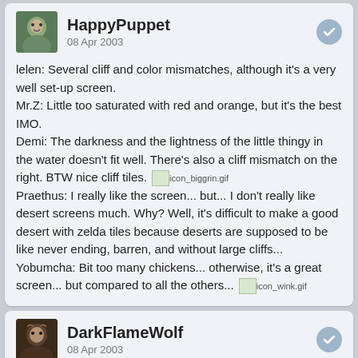HappyPuppet — 08 Apr 2003
lelen: Several cliff and color mismatches, although it's a very well set-up screen.
Mr.Z: Little too saturated with red and orange, but it's the best IMO.
Demi: The darkness and the lightness of the little thingy in the water doesn't fit well. There's also a cliff mismatch on the right. BTW nice cliff tiles. [icon_biggrin.gif]
Praethus: I really like the screen... but... I don't really like desert screens much. Why? Well, it's difficult to make a good desert with zelda tiles because deserts are supposed to be like never ending, barren, and without large cliffs...
Yobumcha: Bit too many chickens... otherwise, it's a great screen... but compared to all the others... [icon_wink.gif]
DarkFlameWolf — 08 Apr 2003
Mr. Z hands down. The vibrant colors and the layout of the screen